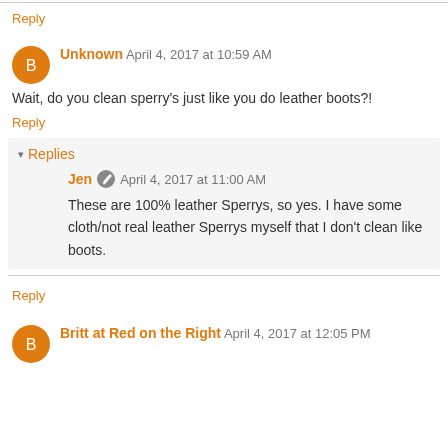Reply
Unknown  April 4, 2017 at 10:59 AM
Wait, do you clean sperry's just like you do leather boots?!
Reply
Replies
Jen  April 4, 2017 at 11:00 AM
These are 100% leather Sperrys, so yes. I have some cloth/not real leather Sperrys myself that I don't clean like boots.
Reply
Britt at Red on the Right  April 4, 2017 at 12:05 PM